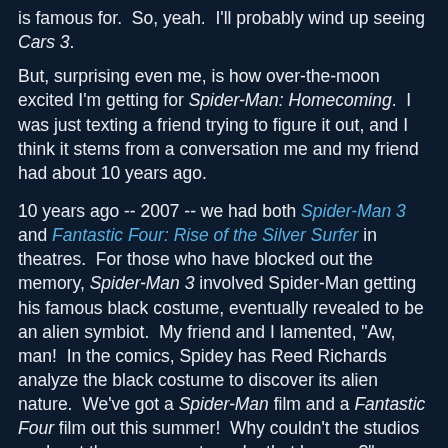is famous for.  So, yeah.  I'll probably wind up seeing Cars 3.
But, surprising even me, is how over-the-moon excited I'm getting for Spider-Man: Homecoming.  I was just texting a friend trying to figure it out, and I think it stems from a conversation me and my friend had about 10 years ago.
10 years ago -- 2007 -- we had both Spider-Man 3 and Fantastic Four: Rise of the Silver Surfer in theatres.  For those who have blocked out the memory, Spider-Man 3 involved Spider-Man getting his famous black costume, eventually revealed to be an alien symbiot.  My friend and I lamented, "Aw, man!  In the comics, Spidey has Reed Richards analyze the black costume to discover its alien nature.  We've got a Spider-Man film and a Fantastic Four film out this summer!  Why couldn't the studios work out the crossover to make that happen?"
Well, look at that shot in the Spider-Man: Homecoming trailer of Spider-Man swinging alongside Iron Man.  They figured it out.  The crossovers are here.  IT'S HERE AND IT'S HAPPENING!